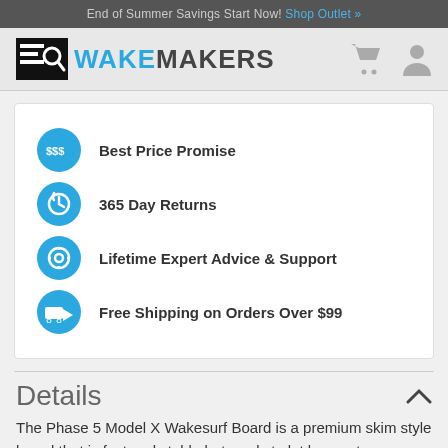End of Summer Savings Start Now! Shop Outlet »
[Figure (logo): WakeMakers logo with magnifying glass icon and cart/user icons on the right]
Best Price Promise
365 Day Returns
Lifetime Expert Advice & Support
Free Shipping on Orders Over $99
Details
The Phase 5 Model X Wakesurf Board is a premium skim style board that is fast and stable but ready to let loose at a moment's notice when you want it to.